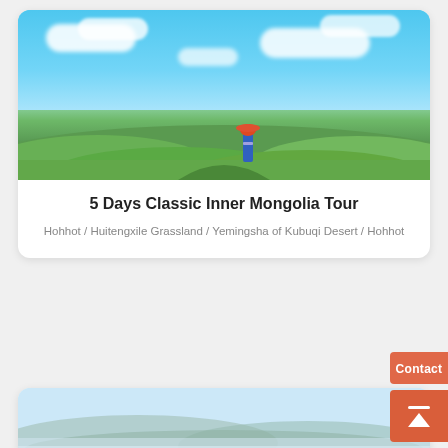[Figure (photo): Person in traditional Mongolian blue robe and orange hat standing on vast green grasslands under a bright blue sky with white clouds — Inner Mongolia landscape]
5 Days Classic Inner Mongolia Tour
Hohhot / Huitengxile Grassland / Yemingsha of Kubuqi Desert / Hohhot
[Figure (photo): Misty mountain landscape with green hills shrouded in morning fog — partial view of second tour card]